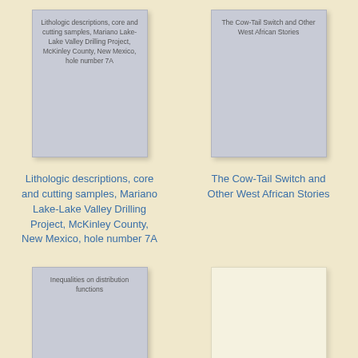[Figure (illustration): Book cover placeholder card (gray) with text: Lithologic descriptions, core and cutting samples, Mariano Lake-Lake Valley Drilling Project, McKinley County, New Mexico, hole number 7A]
[Figure (illustration): Book cover placeholder card (gray) with text: The Cow-Tail Switch and Other West African Stories]
Lithologic descriptions, core and cutting samples, Mariano Lake-Lake Valley Drilling Project, McKinley County, New Mexico, hole number 7A
The Cow-Tail Switch and Other West African Stories
[Figure (illustration): Book cover placeholder card (gray) with text: Inequalities on distribution functions]
[Figure (illustration): Book cover placeholder card (light/cream), empty]